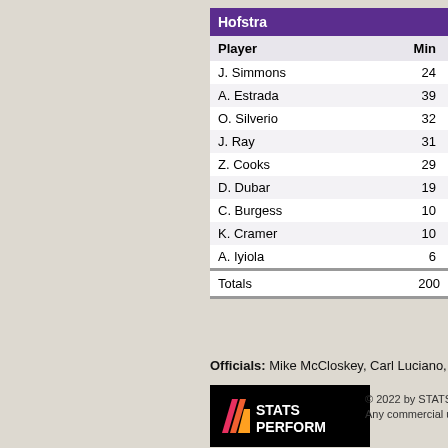| Player | Min |
| --- | --- |
| J. Simmons | 24 |
| A. Estrada | 39 |
| O. Silverio | 32 |
| J. Ray | 31 |
| Z. Cooks | 29 |
| D. Dubar | 19 |
| C. Burgess | 10 |
| K. Cramer | 10 |
| A. Iyiola | 6 |
| Totals | 200 |
Officials: Mike McCloskey, Carl Luciano, Jaso...
[Figure (logo): STATS PERFORM logo on black background with colorful stripes]
© 2022 by STATS PERFO... Any commercial use or di...